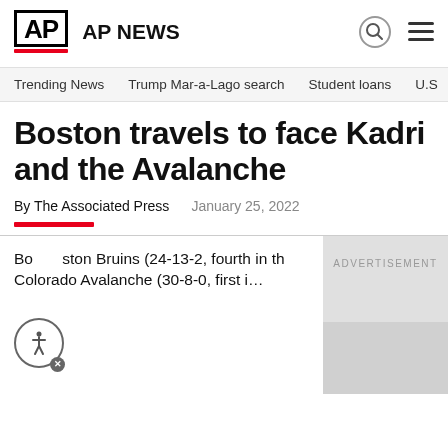AP | AP NEWS
Trending News   Trump Mar-a-Lago search   Student loans   U.S
Boston travels to face Kadri and the Avalanche
By The Associated Press   January 25, 2022
ADVERTISEMENT
Boston Bruins (24-13-2, fourth in th… Colorado Avalanche (30-8-0, first i…